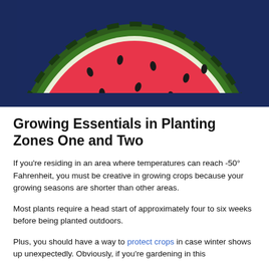[Figure (photo): Close-up photograph of a cut watermelon showing the red interior flesh, green rind, and dark green striped exterior, placed on a dark blue surface.]
Growing Essentials in Planting Zones One and Two
If you're residing in an area where temperatures can reach -50° Fahrenheit, you must be creative in growing crops because your growing seasons are shorter than other areas.
Most plants require a head start of approximately four to six weeks before being planted outdoors.
Plus, you should have a way to protect crops in case winter shows up unexpectedly. Obviously, if you're gardening in this